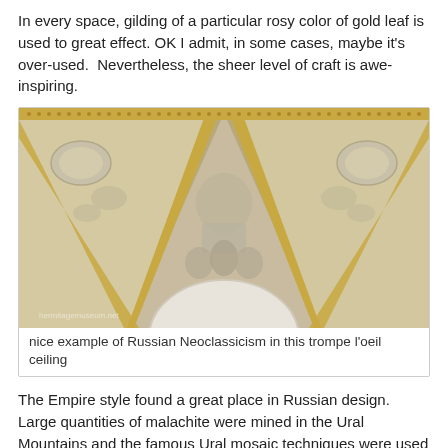In every space, gilding of a particular rosy color of gold leaf is used to great effect. OK I admit, in some cases, maybe it's over-used.  Nevertheless, the sheer level of craft is awe-inspiring.
[Figure (photo): Photograph of an ornate ceiling with Russian Neoclassical trompe l'oeil design featuring gilded arches, decorative plasterwork with figures and foliage, and a circular dome element below.]
nice example of Russian Neoclassicism in this trompe l'oeil ceiling
The Empire style found a great place in Russian design. Large quantities of malachite were mined in the Ural Mountains and the famous Ural mosaic techniques were used to create columns, table tops, giant urns. A fairly liberal